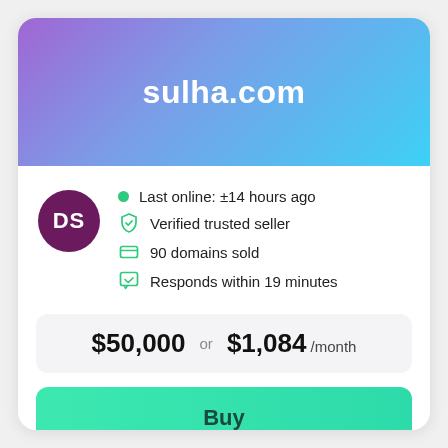sulha.com
Last online: ±14 hours ago
Verified trusted seller
90 domains sold
Responds within 19 minutes
$50,000 or $1,084 /month
Buy